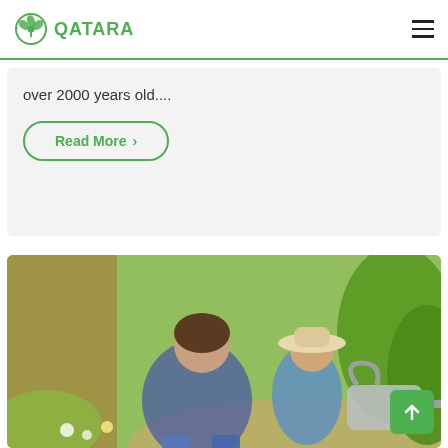QATARA
over 2000 years old....
Read More >
[Figure (photo): An adult crouching beside a young child wearing a hat, both holding a metal watering can and watering green shrubs in a sunny garden.]